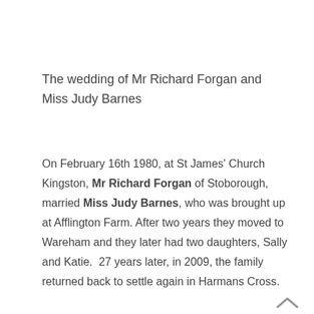The wedding of Mr Richard Forgan and Miss Judy Barnes
On February 16th 1980, at St James' Church Kingston, Mr Richard Forgan of Stoborough, married Miss Judy Barnes, who was brought up at Afflington Farm. After two years they moved to Wareham and they later had two daughters, Sally and Katie.  27 years later, in 2009, the family returned back to settle again in Harmans Cross.